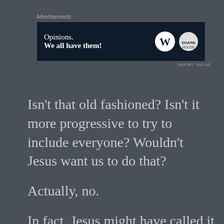[Figure (screenshot): Advertisement banner with dark navy background. Left side shows text 'Opinions. We all have them!' in white serif font. Right side shows WordPress 'W' logo in a circle and a second circular logo. Label 'Advertisements' above the banner, 'REPORT THIS AD' below right.]
Isn’t that old fashioned? Isn’t it more progressive to try to include everyone? Wouldn’t Jesus want us to do that?
Actually, no.
In fact, Jesus might have called it blasphemy to even suggest God had part